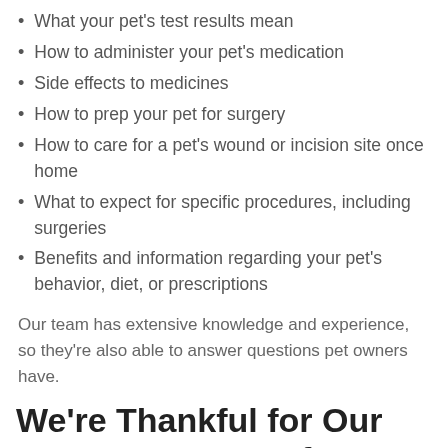What your pet's test results mean
How to administer your pet's medication
Side effects to medicines
How to prep your pet for surgery
How to care for a pet's wound or incision site once home
What to expect for specific procedures, including surgeries
Benefits and information regarding your pet's behavior, diet, or prescriptions
Our team has extensive knowledge and experience, so they're also able to answer questions pet owners have.
We're Thankful for Our Awesome Team of Vet Techs!